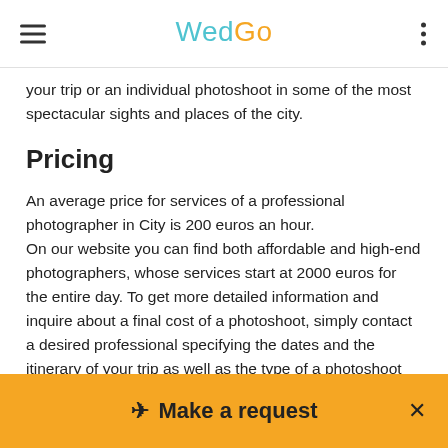WedGo
your trip or an individual photoshoot in some of the most spectacular sights and places of the city.
Pricing
An average price for services of a professional photographer in City is 200 euros an hour.
On our website you can find both affordable and high-end photographers, whose services start at 2000 euros for the entire day. To get more detailed information and inquire about a final cost of a photoshoot, simply contact a desired professional specifying the dates and the itinerary of your trip as well as the type of a photoshoot you are interested in.
Once a goddess opened her jewelry case.  As usual a beautiful jewel attracted her attention. She took it and
✈ Make a request